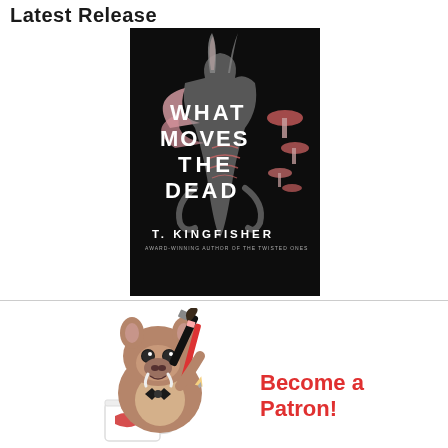Latest Release
[Figure (illustration): Book cover of 'What Moves the Dead' by T. Kingfisher. Dark background with a creature that is part rabbit and part plant/fungal anatomy, featuring mushrooms, skeletal structure, and pink flora. Title text in white block letters reads 'WHAT MOVES THE DEAD'. Author name 'T. KINGFISHER' at the bottom with subtitle 'AWARD-WINNING AUTHOR OF THE TWISTED ONES'.]
[Figure (illustration): Cartoon mascot of a cute wombat/boar-like creature holding a paintbrush and a red pencil, sitting with a coffee mug. Illustrated in a cartoon style.]
Become a Patron!